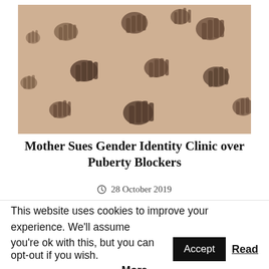[Figure (photo): Sepia-toned photograph of multiple hand prints pressed onto a light sandy or stone surface, showing various sizes of hands arranged across the frame.]
Mother Sues Gender Identity Clinic over Puberty Blockers
28 October 2019
This website uses cookies to improve your experience. We'll assume you're ok with this, but you can opt-out if you wish. Accept Read More